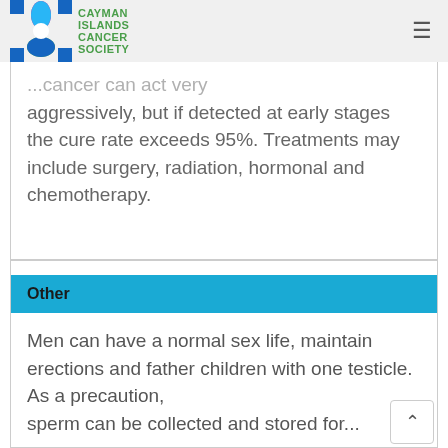Cayman Islands Cancer Society
...cancer can act very aggressively, but if detected at early stages the cure rate exceeds 95%. Treatments may include surgery, radiation, hormonal and chemotherapy.
Other
Men can have a normal sex life, maintain erections and father children with one testicle. As a precaution, sperm can be collected and stored for...